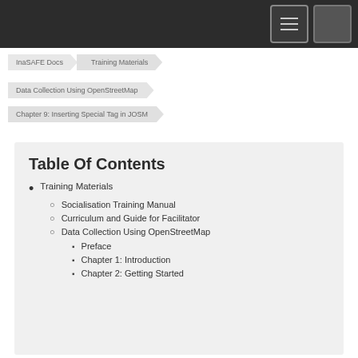InaSAFE Docs > Training Materials > Data Collection Using OpenStreetMap > Chapter 9: Inserting Special Tag in JOSM
Table Of Contents
Training Materials
Socialisation Training Manual
Curriculum and Guide for Facilitator
Data Collection Using OpenStreetMap
Preface
Chapter 1: Introduction
Chapter 2: Getting Started